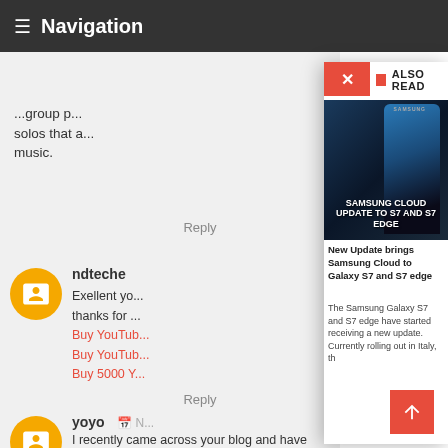≡ Navigation
...group p... solos that a... music.
Reply
[Figure (screenshot): Blogger avatar icon - orange circle with white B]
ndteche
Exellent yo... thanks for ... Buy YouTub... Buy YouTub... Buy 5000 Y...
Reply
[Figure (screenshot): ALSO READ popup panel showing Samsung Cloud Update to S7 and S7 Edge article with image and text]
New Update brings Samsung Cloud to Galaxy S7 and S7 edge
The Samsung Galaxy S7 and S7 edge have started receiving a new update. Currently rolling out in Italy, th
[Figure (screenshot): Blogger avatar icon - orange circle with white B]
yoyo
I recently came across your blog and have be... reading along. I thought I would leave my f... comment. I don't know what to say except that I